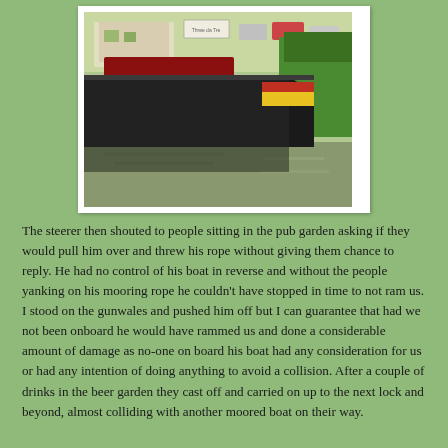[Figure (photo): A narrowboat moored alongside a grassy riverbank. The boat is black with yellow and red painted details near the bow. Green reeds and vegetation line the right bank. In the background there is a pub or shop building and parked cars visible across the water.]
The steerer then shouted to people sitting in the pub garden asking if they would pull him over and threw his rope without giving them chance to reply. He had no control of his boat in reverse and without the people yanking on his mooring rope he couldn't have stopped in time to not ram us.  I stood on the gunwales and pushed him off but I can guarantee that had we not been onboard he would have rammed us and done a considerable amount of damage as no-one on board his boat had any consideration for us or had any intention of doing anything to avoid a collision.  After a couple of drinks in the beer garden they cast off and carried on up to the next lock and beyond, almost colliding with another moored boat on their way.